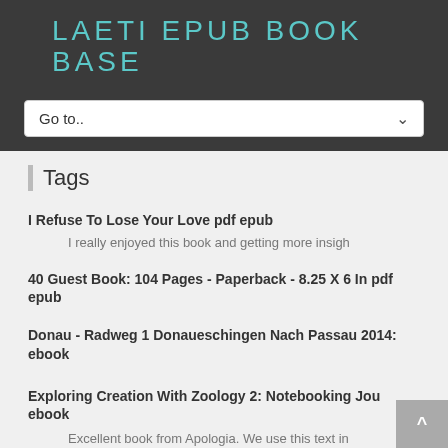LAETI EPUB BOOK BASE
Tags
I Refuse To Lose Your Love pdf epub
I really enjoyed this book and getting more insigh
40 Guest Book: 104 Pages - Paperback - 8.25 X 6 In pdf epub
Donau - Radweg 1 Donaueschingen Nach Passau 2014: ebook
Exploring Creation With Zoology 2: Notebooking Jou ebook
Excellent book from Apologia. We use this text in